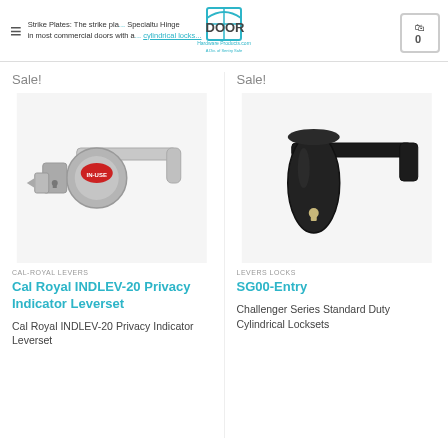Strike Plates: The strike plate ... Specialtu Hinge in most commercial doors with a ... cylindrical locks. Door Hardware Products.com - A Div. of Sentry Safe
Sale!
[Figure (photo): Cal Royal INDLEV-20 Privacy Indicator Leverset - silver lever handle with IN-USE indicator badge]
CAL-ROYAL LEVERS
Cal Royal INDLEV-20 Privacy Indicator Leverset
Cal Royal INDLEV-20 Privacy Indicator Leverset
Sale!
[Figure (photo): SG00-Entry lever - black cylindrical lever lockset with keyhole]
LEVERS LOCKS
SG00-Entry
Challenger Series Standard Duty Cylindrical Locksets